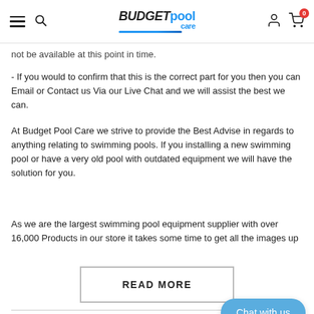Budget Pool Care - navigation header with hamburger menu, search, logo, account and cart icons
not be available at this point in time.
- If you would to confirm that this is the correct part for you then you can Email or Contact us Via our Live Chat and we will assist the best we can.
At Budget Pool Care we strive to provide the Best Advise in regards to anything relating to swimming pools. If you installing a new swimming pool or have a very old pool with outdated equipment we will have the solution for you.
As we are the largest swimming pool equipment supplier with over 16,000 Products in our store it takes some time to get all the images up
READ MORE
SHIPPING
RETURNS